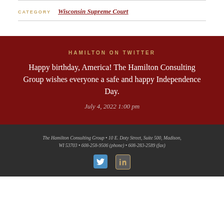CATEGORY  Wisconsin Supreme Court
HAMILTON ON TWITTER
Happy birthday, America! The Hamilton Consulting Group wishes everyone a safe and happy Independence Day.
July 4, 2022 1:00 pm
The Hamilton Consulting Group • 10 E. Doty Street, Suite 500, Madison, WI 53703 • 608-258-9506 (phone) • 608-283-2589 (fax)